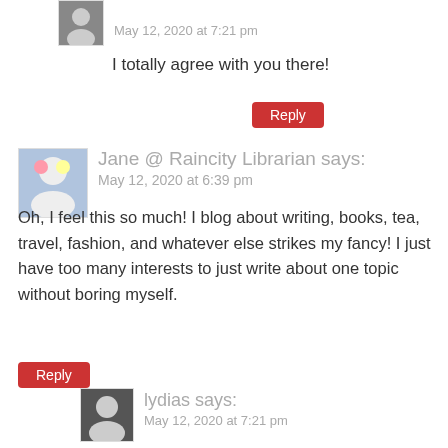lydias says: May 12, 2020 at 7:21 pm
I totally agree with you there!
Reply
Jane @ Raincity Librarian says: May 12, 2020 at 6:39 pm
Oh, I feel this so much! I blog about writing, books, tea, travel, fashion, and whatever else strikes my fancy! I just have too many interests to just write about one topic without boring myself.
Reply
lydias says: May 12, 2020 at 7:21 pm
So glad you get it. 🙂
Reply